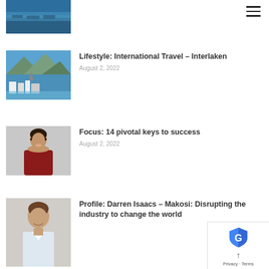[Figure (photo): Partial thumbnail of a lake/waterway scene with boats, cropped at top of page]
[Figure (photo): Thumbnail of Interlaken Switzerland with alpine lake and town buildings]
Lifestyle: International Travel – Interlaken
August 2, 2022
[Figure (photo): Thumbnail of a smiling woman in red top on grey background]
Focus: 14 pivotal keys to success
August 2, 2022
[Figure (photo): Thumbnail of a smiling man in light shirt on grey background]
Profile: Darren Isaacs – Makosi: Disrupting the industry to change the world